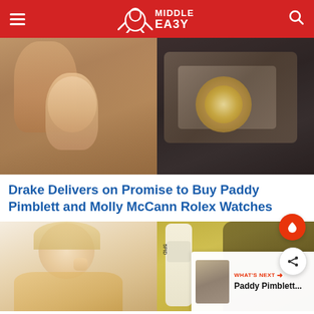Middle Easy
[Figure (photo): Split image: left side shows a shirtless muscular person with another person smiling; right side shows a luxury watch (Rolex) in a box being held]
Drake Delivers on Promise to Buy Paddy Pimblett and Molly McCann Rolex Watches
[Figure (photo): Split image at bottom: left shows a blonde young man (Jake Paul) with finger to lips; right shows a person holding a sports product/bottle with SPID branding. Inset 'WHAT'S NEXT' panel shows Paddy Pimblett...]